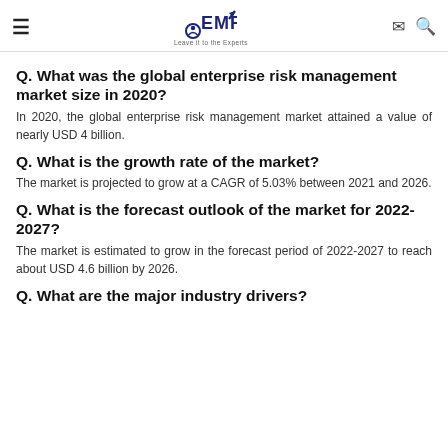EMR — Leave it to the Experts
Q. What was the global enterprise risk management market size in 2020?
In 2020, the global enterprise risk management market attained a value of nearly USD 4 billion.
Q. What is the growth rate of the market?
The market is projected to grow at a CAGR of 5.03% between 2021 and 2026.
Q. What is the forecast outlook of the market for 2022-2027?
The market is estimated to grow in the forecast period of 2022-2027 to reach about USD 4.6 billion by 2026.
Q. What are the major industry drivers?